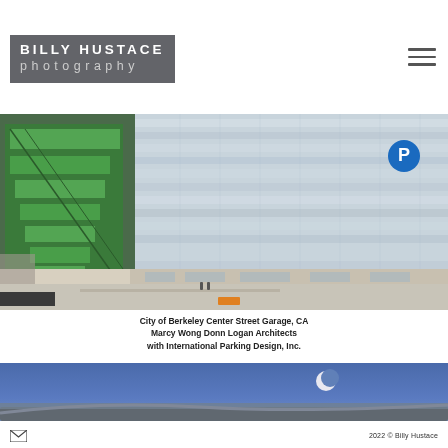BILLY HUSTACE photography
[Figure (photo): Aerial/elevated view of City of Berkeley Center Street Garage showing green external staircases and reflective glass facade parking structure with street level view]
City of Berkeley Center Street Garage, CA
Marcy Wong Donn Logan Architects
with International Parking Design, Inc.
[Figure (photo): Night or dusk photograph of a curved architectural structure with blue sky and crescent moon visible]
2022 © Billy Hustace